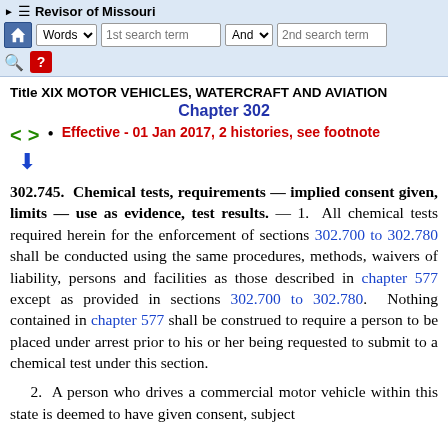Revisor of Missouri — navigation bar with search fields
Title XIX MOTOR VEHICLES, WATERCRAFT AND AVIATION
Chapter 302
Effective - 01 Jan 2017, 2 histories, see footnote
302.745. Chemical tests, requirements — implied consent given, limits — use as evidence, test results. — 1. All chemical tests required herein for the enforcement of sections 302.700 to 302.780 shall be conducted using the same procedures, methods, waivers of liability, persons and facilities as those described in chapter 577 except as provided in sections 302.700 to 302.780. Nothing contained in chapter 577 shall be construed to require a person to be placed under arrest prior to his or her being requested to submit to a chemical test under this section.
2. A person who drives a commercial motor vehicle within this state is deemed to have given consent, subject